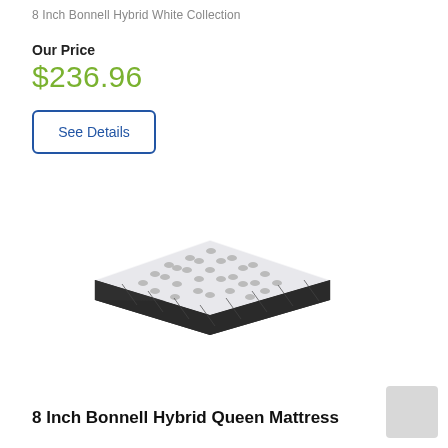8 Inch Bonnell Hybrid White Collection
Our Price
$236.96
See Details
[Figure (photo): A white and grey hybrid mattress shown in perspective view against a white background]
8 Inch Bonnell Hybrid Queen Mattress